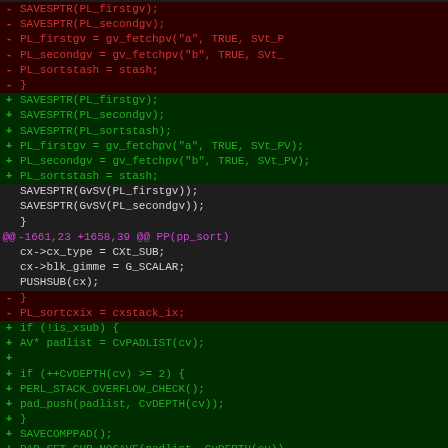[Figure (screenshot): Source code diff view showing changes to Perl source code. Red lines with minus markers show deleted code, green lines with plus markers show added code, purple line shows hunk header. Code involves SAVESPTR, PL_firstgv, PL_secondgv, PL_sortstash, gv_fetchpv, cx_type, cx->blk_gimme, PUSHSUB, PL_sortcxix, is_xsub, padlist, CvPADLIST, CvDEPTH, PERL_STACK_OVERFLOW_CHECK, pad_push, SAVECOMPPAD, PAD_SET_CUR_NOSAVE macros and functions.]